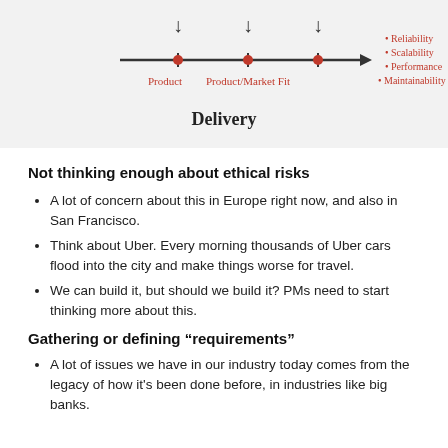[Figure (illustration): Diagram showing a timeline arrow with 'Product' and 'Product/Market Fit' markers, three downward arrows above, and a legend listing Reliability, Scalability, Performance, Maintainability in red handwriting. The label 'Delivery' appears below the arrow.]
Not thinking enough about ethical risks
A lot of concern about this in Europe right now, and also in San Francisco.
Think about Uber. Every morning thousands of Uber cars flood into the city and make things worse for travel.
We can build it, but should we build it? PMs need to start thinking more about this.
Gathering or defining “requirements”
A lot of issues we have in our industry today comes from the legacy of how it's been done before, in industries like big banks.